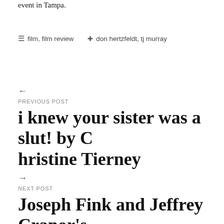event in Tampa.
≡ film, film review  ◇ don hertzfeldt, tj murray
← PREVIOUS POST
i knew your sister was a slut! by Christine Tierney
→ NEXT POST
Joseph Fink and Jeffrey Cranor's Welcome to Night Vale: Read R